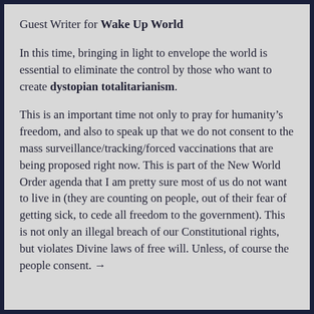Guest Writer for Wake Up World
In this time, bringing in light to envelope the world is essential to eliminate the control by those who want to create dystopian totalitarianism.
This is an important time not only to pray for humanity’s freedom, and also to speak up that we do not consent to the mass surveillance/tracking/forced vaccinations that are being proposed right now. This is part of the New World Order agenda that I am pretty sure most of us do not want to live in (they are counting on people, out of their fear of getting sick, to cede all freedom to the government). This is not only an illegal breach of our Constitutional rights, but violates Divine laws of free will. Unless, of course the people consent. →